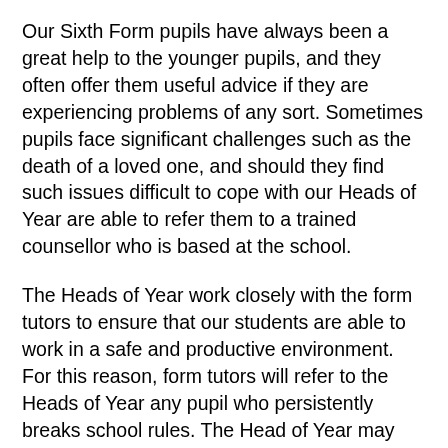Our Sixth Form pupils have always been a great help to the younger pupils, and they often offer them useful advice if they are experiencing problems of any sort. Sometimes pupils face significant challenges such as the death of a loved one, and should they find such issues difficult to cope with our Heads of Year are able to refer them to a trained counsellor who is based at the school.
The Heads of Year work closely with the form tutors to ensure that our students are able to work in a safe and productive environment. For this reason, form tutors will refer to the Heads of Year any pupil who persistently breaks school rules. The Head of Year may use a variety of sanctions to help establish a better approach to school life from these pupils. If class teachers are concerned about persistent misbehaviour from a pupil, they will refer the pupil to the relevant Head of Department, who will draw on a